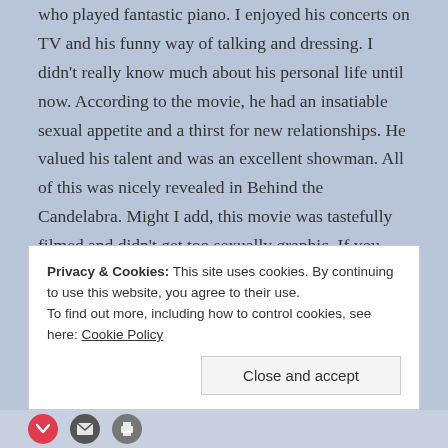who played fantastic piano.  I enjoyed his concerts on TV and his funny way of talking and dressing.  I didn't really know much about his personal life until now.  According to the movie, he had an insatiable sexual appetite and a thirst for new relationships.  He valued his talent and was an excellent showman.  All of this was nicely revealed in Behind the Candelabra.  Might I add, this movie was tastefully filmed and didn't get too sexually graphic.  If you haven't seen it, you can catch it On Demand.
Privacy & Cookies: This site uses cookies. By continuing to use this website, you agree to their use. To find out more, including how to control cookies, see here: Cookie Policy
Close and accept